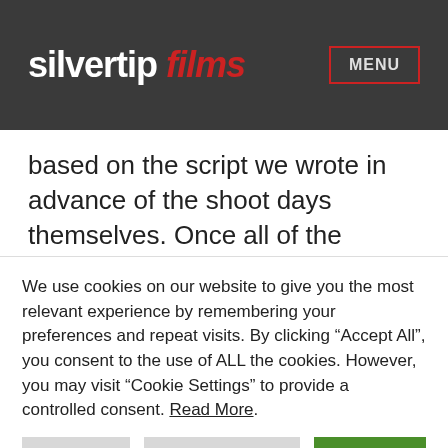silvertip films  MENU
based on the script we wrote in advance of the shoot days themselves. Once all of the presenter pieces were in place, we could work our way through the various interviews and select sections to back up what the presenter was talking about.
We use cookies on our website to give you the most relevant experience by remembering your preferences and repeat visits. By clicking “Accept All”, you consent to the use of ALL the cookies. However, you may visit "Cookie Settings" to provide a controlled consent. Read More.